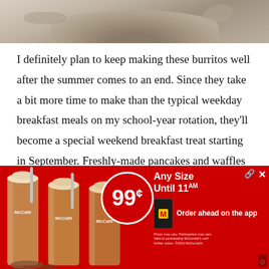[Figure (photo): Top portion of a food photo, showing what appears to be the top of a breakfast burrito or food item on a light background]
I definitely plan to keep making these burritos well after the summer comes to an end. Since they take a bit more time to make than the typical weekday breakfast meals on my school-year rotation, they'll become a special weekend breakfast treat starting in September. Freshly-made pancakes and waffles are already seen as a special treat on Sunday mornings (a time when we slow down, eat outside on the porch, and sip coffee in our pjs until noon), and now these loaded breakfast burritos can be added to the list of
[Figure (photo): McDonald's McCafe advertisement banner showing three iced coffee drinks with 99 cent price badge and 'Any Size Until 11AM, Order ahead on the app' text]